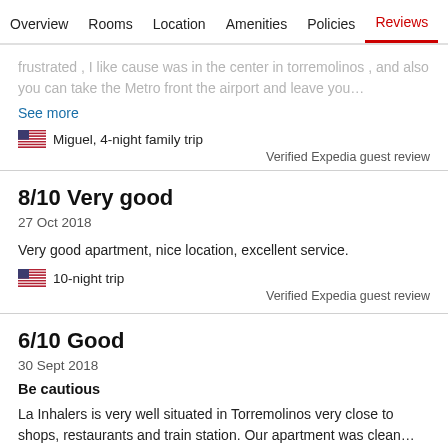Overview  Rooms  Location  Amenities  Policies  Reviews
frustrated , I like cause was in the center in torremolinos , and also you can take the Metro front the airport and leave you...
See more
Miguel, 4-night family trip
Verified Expedia guest review
8/10 Very good
27 Oct 2018
Very good apartment, nice location, excellent service.
10-night trip
Verified Expedia guest review
6/10 Good
30 Sept 2018
Be cautious
La Inhalers is very well situated in Torremolinos very close to shops, restaurants and train station. Our apartment was clean...